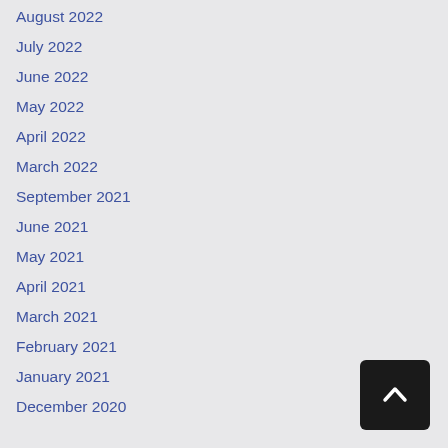August 2022
July 2022
June 2022
May 2022
April 2022
March 2022
September 2021
June 2021
May 2021
April 2021
March 2021
February 2021
January 2021
December 2020
[Figure (other): Back to top button — dark square with upward chevron arrow]